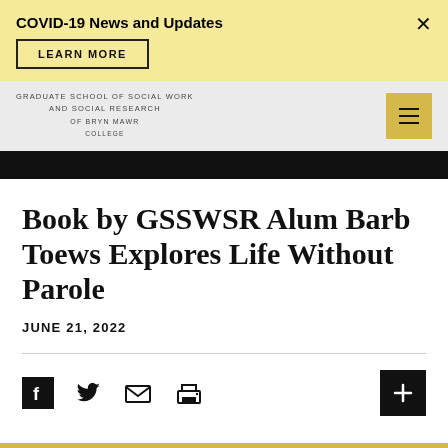COVID-19 News and Updates
LEARN MORE
GRADUATE SCHOOL OF SOCIAL WORK AND SOCIAL RESEARCH OF BRYN MAWR COLLEGE
Book by GSSWSR Alum Barb Toews Explores Life Without Parole
JUNE 21, 2022
[Figure (other): Social sharing icons row: Facebook, Twitter, Email, Print icons, and a plus button on the right]